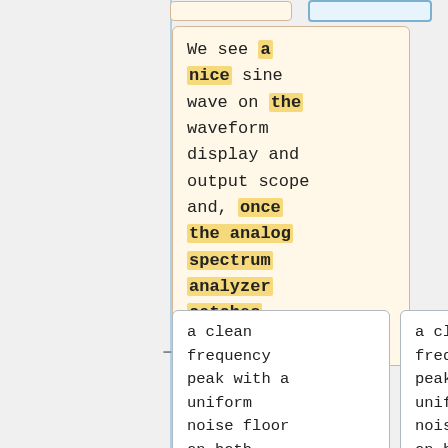We see a nice sine wave on the waveform display and output scope and, once the analog spectrum analyzer catches up...
a clean frequency peak with a uniform noise floor on both spectral displays
a clean frequency peak with a uniform noise floor on both spectral displays